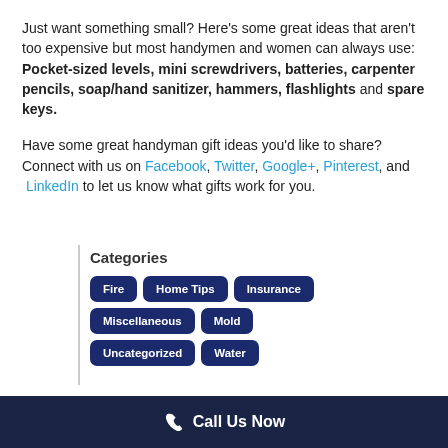Just want something small? Here's some great ideas that aren't too expensive but most handymen and women can always use: Pocket-sized levels, mini screwdrivers, batteries, carpenter pencils, soap/hand sanitizer, hammers, flashlights and spare keys.
Have some great handyman gift ideas you'd like to share? Connect with us on Facebook, Twitter, Google+, Pinterest, and LinkedIn to let us know what gifts work for you.
Categories
Fire
Home Tips
Insurance
Miscellaneous
Mold
Uncategorized
Water
Call Us Now